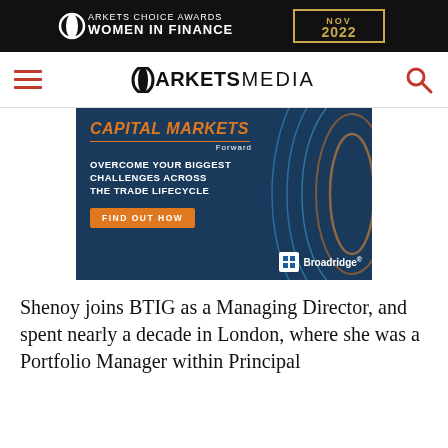[Figure (logo): Markets Choice Awards Women in Finance NOV 2022 banner advertisement in black background with gold border]
MARKETS MEDIA navigation bar with hamburger menu, logo, and search icon
[Figure (infographic): Broadridge Capital Markets Forward advertisement: 'CAPITAL MARKETS Forward - OVERCOME YOUR BIGGEST CHALLENGES ACROSS THE TRADE LIFECYCLE - FIND OUT HOW' on dark blue background with decorative wave lines and Broadridge logo]
Shenoy joins BTIG as a Managing Director, and spent nearly a decade in London, where she was a Portfolio Manager within Principal